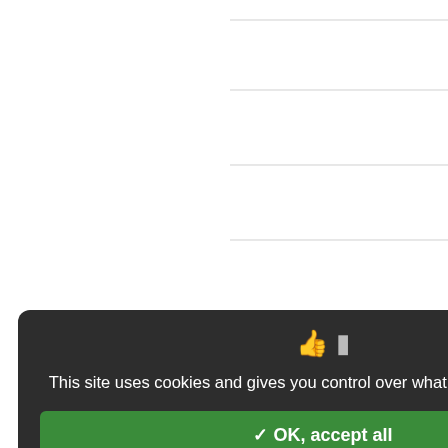[Figure (area-chart): Partial area chart showing data from 1900 to ~1940, with y-axis values from 0 to 2,500,000. Two series visible: gray area (base) and orange area (overlay). X-axis labels: 1900, 1910, 1920, 1930. Y-axis labels: 0, 500,000, 1,000,000, 1,500,000, 2,000,000, 2,500,000.]
Source: authors, based US Decennial C...
Crucial to these developments were private housing, individual mobility Ewen 2000, Beauregard 2006, Tea transportation grew, so did the need ots and multi-level parking structu...
✓ OK, accept all
✗ Deny all cookies
Personalize
Privacy policy
This site uses cookies and gives you control over what you want to activate